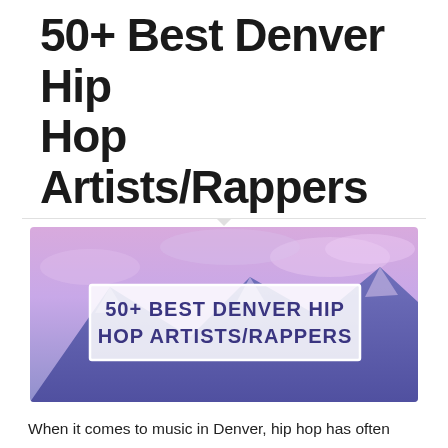50+ Best Denver Hip Hop Artists/Rappers
[Figure (illustration): Banner image with a purple/pink-tinted mountain landscape background and white-bordered text box reading: 50+ BEST DENVER HIP HOP ARTISTS/RAPPERS]
When it comes to music in Denver, hip hop has often taken a back seat to genres such as EDM and rock, but the city's changing demographics and influx of creative spirit is helping shift the musical